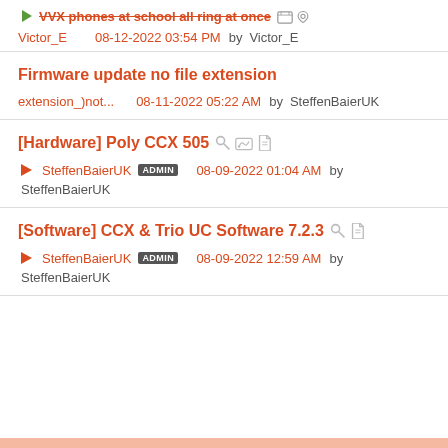VVX phones at school all ring at once
Victor_E   08-12-2022 03:54 PM  by Victor_E
Firmware update no file extension
extension_)not...   08-11-2022 05:22 AM  by SteffenBaierUK
[Hardware] Poly CCX 505
SteffenBaierUK ADMIN   08-09-2022 01:04 AM  by SteffenBaierUK
[Software] CCX & Trio UC Software 7.2.3
SteffenBaierUK ADMIN   08-09-2022 12:59 AM  by SteffenBaierUK